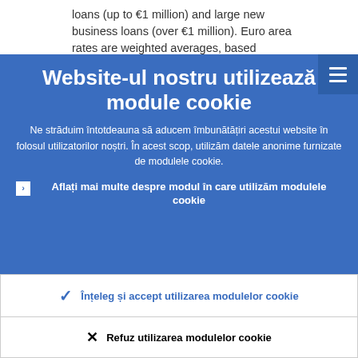loans (up to €1 million) and large new business loans (over €1 million). Euro area rates are weighted averages, based
Website-ul nostru utilizează module cookie
Ne străduim întotdeauna să aducem îmbunătățiri acestui website în folosul utilizatorilor noștri. În acest scop, utilizăm datele anonime furnizate de modulele cookie.
Aflați mai multe despre modul în care utilizăm modulele cookie
Înțeleg și accept utilizarea modulelor cookie
Refuz utilizarea modulelor cookie